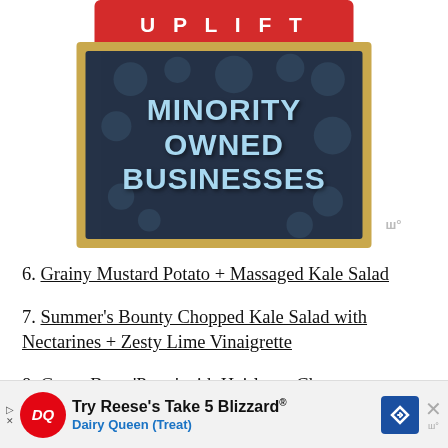[Figure (illustration): Store sign graphic with red awning reading 'UPLIFT' and a dark blue chalkboard sign reading 'MINORITY OWNED BUSINESSES' in light blue bold text with a gold frame]
6. Grainy Mustard Potato + Massaged Kale Salad
7. Summer's Bounty Chopped Kale Salad with Nectarines + Zesty Lime Vinaigrette
8. Green Bean 'Pasta' with Heirloom Cherry
[Figure (infographic): Advertisement banner for Dairy Queen featuring 'Try Reese's Take 5 Blizzard® Dairy Queen (Treat)' with DQ logo and navigation arrow icon]